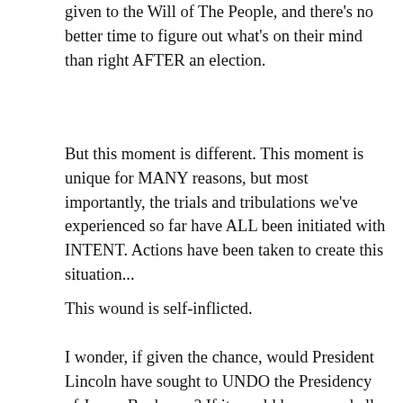given to the Will of The People, and there's no better time to figure out what's on their mind than right AFTER an election.
But this moment is different. This moment is unique for MANY reasons, but most importantly, the trials and tribulations we've experienced so far have ALL been initiated with INTENT. Actions have been taken to create this situation...
This wound is self-inflicted.
I wonder, if given the chance, would President Lincoln have sought to UNDO the Presidency of James Buchanan? If it would have saved all the LIVES lost during his Presidency... if it were ME, I might have